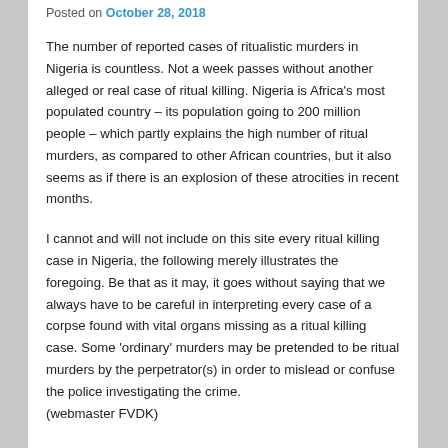Posted on October 28, 2018
The number of reported cases of ritualistic murders in Nigeria is countless. Not a week passes without another alleged or real case of ritual killing. Nigeria is Africa’s most populated country – its population going to 200 million people – which partly explains the high number of ritual murders, as compared to other African countries, but it also seems as if there is an explosion of these atrocities in recent months.
I cannot and will not include on this site every ritual killing case in Nigeria, the following merely illustrates the foregoing. Be that as it may, it goes without saying that we always have to be careful in interpreting every case of a corpse found with vital organs missing as a ritual killing case. Some ‘ordinary’ murders may be pretended to be ritual murders by the perpetrator(s) in order to mislead or confuse the police investigating the crime.
(webmaster FVDK)
Warning: the following articles contain graphic